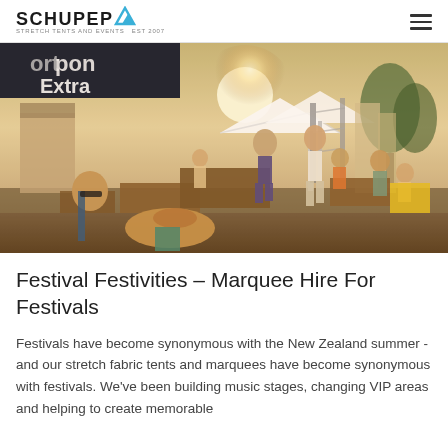SCHUPEPE — STRETCH TENTS AND EVENTS — EST 2007
[Figure (photo): Outdoor festival scene with people socializing, wooden picnic tables, white umbrella structures, tents, trees, and bright sunlight in the background. A dark awning with 'Extra' text visible at top left.]
Festival Festivities – Marquee Hire For Festivals
Festivals have become synonymous with the New Zealand summer - and our stretch fabric tents and marquees have become synonymous with festivals. We've been building music stages, changing VIP areas and helping to create memorable